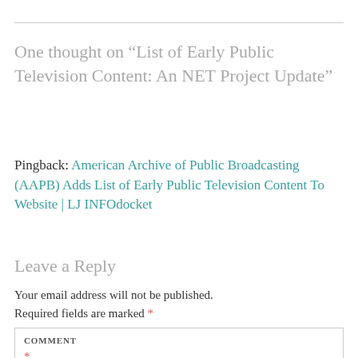One thought on “List of Early Public Television Content: An NET Project Update”
Pingback: American Archive of Public Broadcasting (AAPB) Adds List of Early Public Television Content To Website | LJ INFOdocket
Leave a Reply
Your email address will not be published. Required fields are marked *
COMMENT *